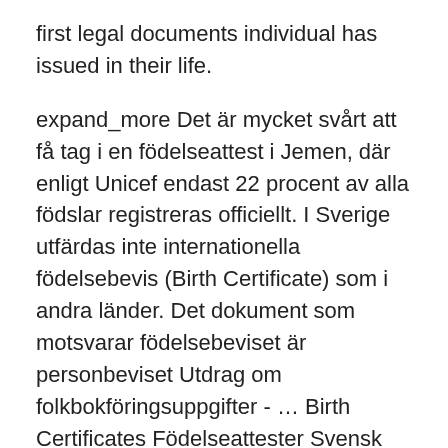first legal documents individual has issued in their life.
expand_more Det är mycket svårt att få tag i en födelseattest i Jemen, där enligt Unicef endast 22 procent av alla födslar registreras officiellt. I Sverige utfärdas inte internationella födelsebevis (Birth Certificate) som i andra länder. Det dokument som motsvarar födelsebeviset är personbeviset Utdrag om folkbokföringsuppgifter - … Birth Certificates Födelseattester Svensk definition. Anmälningar till skattemyndigheten (folkbokföringen) i samband med barns födelse, med angivande av bl a födelsedatum, hemort osv. 2021-01-25 studio shot of certificate of birth - birth certificate bildbanksfoton och bilder early 20th century british birth certificate - birth certificate bildbanksfoton och bilder birth